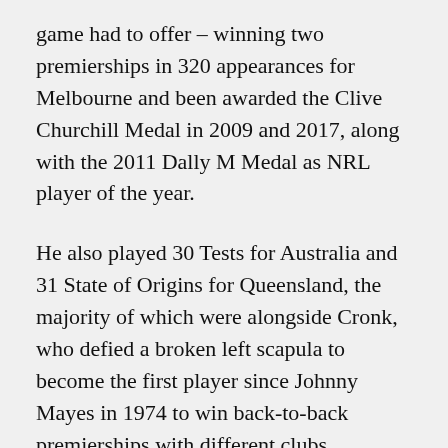game had to offer – winning two premierships in 320 appearances for Melbourne and been awarded the Clive Churchill Medal in 2009 and 2017, along with the 2011 Dally M Medal as NRL player of the year.
He also played 30 Tests for Australia and 31 State of Origins for Queensland, the majority of which were alongside Cronk, who defied a broken left scapula to become the first player since Johnny Mayes in 1974 to win back-to-back premierships with different clubs.
As soon as the full-time siren sounded, Slater made a bee line for Cronk, who had come from